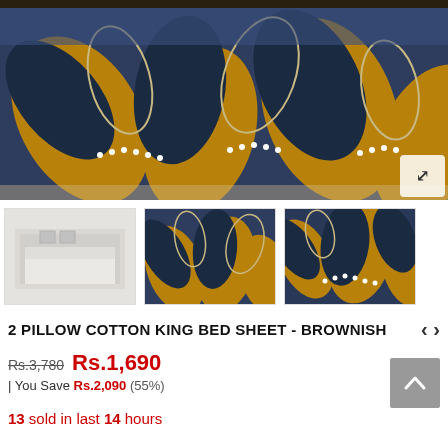[Figure (photo): Main product image of a 2-pillow cotton king bed sheet in brownish/blue tropical leaf pattern displayed on a bed]
[Figure (photo): Thumbnail 1: room view of bedsheet in grey tone]
[Figure (photo): Thumbnail 2: close-up folded bedsheet showing blue and gold tropical pattern]
[Figure (photo): Thumbnail 3: close-up of bedsheet corner with blue, gold and white tropical leaf pattern]
2 PILLOW COTTON KING BED SHEET - BROWNISH
Rs.3,780  Rs.1,690
| You Save Rs.2,090 (55%)
13 sold in last 14 hours